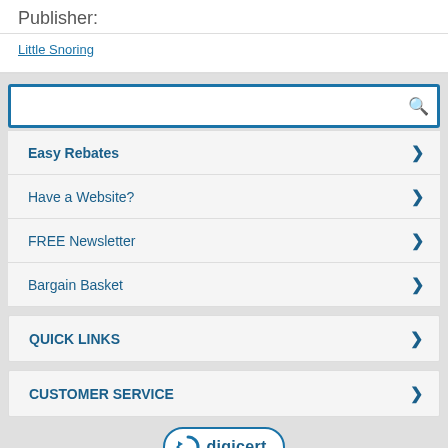Publisher:
Little Snoring
Easy Rebates
Have a Website?
FREE Newsletter
Bargain Basket
QUICK LINKS
CUSTOMER SERVICE
[Figure (logo): DigiCert logo badge with circular arrow icon and 'digicert' text, blue border on white background]